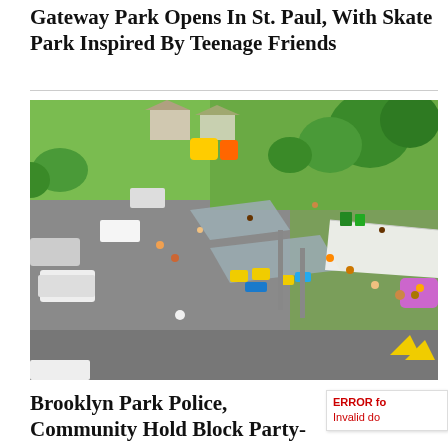Gateway Park Opens In St. Paul, With Skate Park Inspired By Teenage Friends
[Figure (photo): Aerial view of Gateway Park event with people gathered under pavilion canopies, yellow picnic tables, white tent, inflatable bounce house, cars in parking lot, surrounded by green trees and grass.]
Brooklyn Park Police, Community Hold Block Party-Style Meeting On Crime
ERROR fo Invalid do